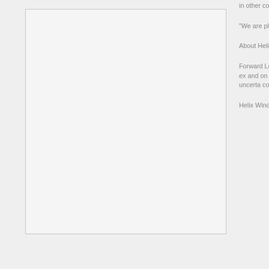[Figure (other): Blank placeholder image box with light gray fill and thin border]
in other countries
"We are pleased we believe is our intended to prote similar to our des property is a core
About Helix: Helix and sales of sma clean, renewable
Forward Looking looking statemen anything relating business develop number of risks a personnel with ex and on acceptabl patent filings and of the issuance o the patents which results Helix Win risks and uncerta conjunction with i
Helix Wind Close